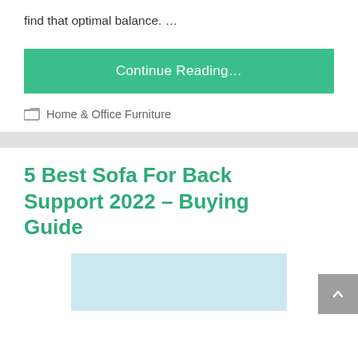find that optimal balance. ...
Continue Reading...
Home & Office Furniture
5 Best Sofa For Back Support 2022 – Buying Guide
[Figure (photo): Partial view of a person sitting on a sofa, light blue/teal background]